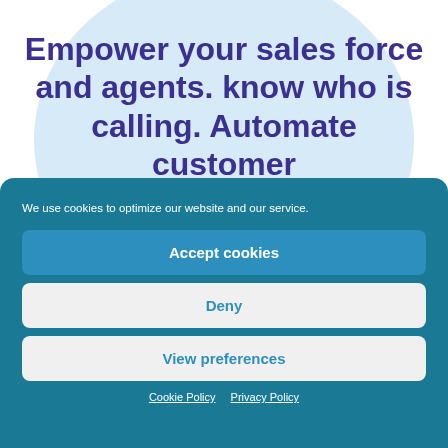Empower your sales force and agents. know who is calling. Automate customer
We use cookies to optimize our website and our service.
Accept cookies
Deny
View preferences
Cookie Policy  Privacy Policy